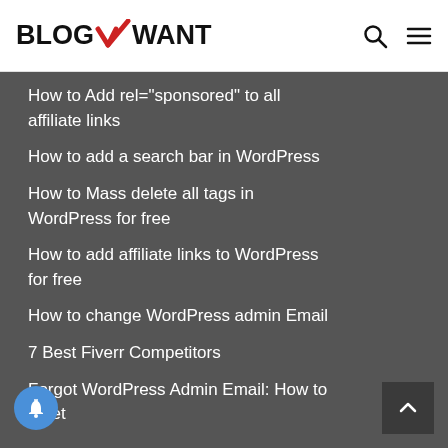BLOGWANT
How to Add rel="sponsored" to all affiliate links
How to add a search bar in WordPress
How to Mass delete all tags in WordPress for free
How to add affiliate links to WordPress for free
How to change WordPress admin Email
7 Best Fiverr Competitors
Forgot WordPress Admin Email: How to reset